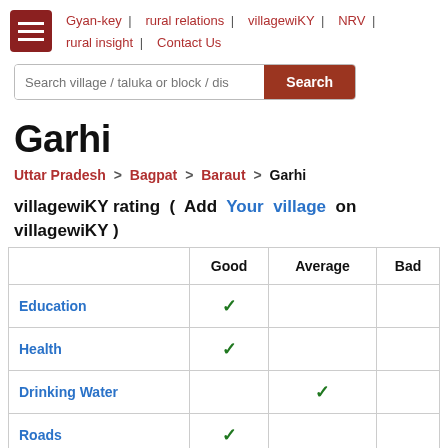Gyan-key | rural relations | villagewiKY | NRV | rural insight | Contact Us
Search village / taluka or block / dis... Search
Garhi
Uttar Pradesh > Bagpat > Baraut > Garhi
villagewiKY rating ( Add Your village on villagewiKY )
|  | Good | Average | Bad |
| --- | --- | --- | --- |
| Education | ✓ |  |  |
| Health | ✓ |  |  |
| Drinking Water |  | ✓ |  |
| Roads | ✓ |  |  |